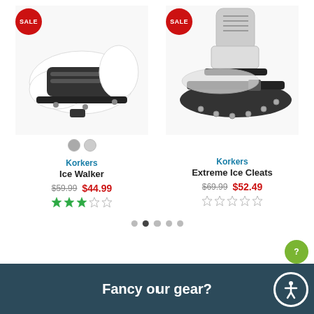[Figure (photo): Korkers Ice Walker shoe attachment product photo with SALE badge]
[Figure (photo): Korkers Extreme Ice Cleats product photo with SALE badge]
Korkers
Ice Walker
$59.99  $44.99  ★★★☆☆
Korkers
Extreme Ice Cleats
$69.99  $52.49  ☆☆☆☆☆
Fancy our gear?